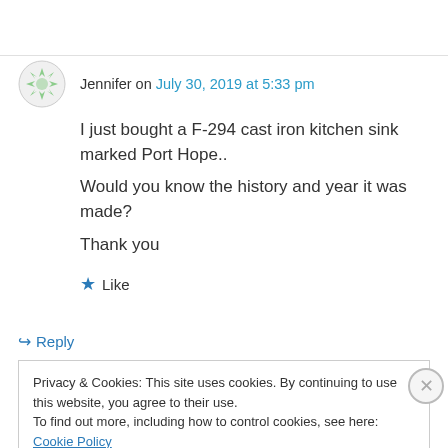Jennifer on July 30, 2019 at 5:33 pm
I just bought a F-294 cast iron kitchen sink marked Port Hope..
Would you know the history and year it was made?
Thank you
★ Like
↳ Reply
Privacy & Cookies: This site uses cookies. By continuing to use this website, you agree to their use.
To find out more, including how to control cookies, see here: Cookie Policy
Close and accept